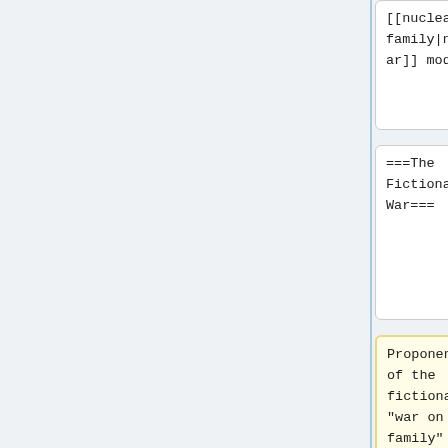[[nuclear family|nuclear]] model
[[nuclear family|nuclear]] model
===The Fictional War===
===The Fictional War===
Proponents of the fictional "war on the family" claim that the "traditional family" (by which they mean the [[nuclear family]]) is being destroyed by
Proponents of the fictional "war on the family" claim that the "traditional family" (by which they apparently mean the [[nuclear family]], a relatively